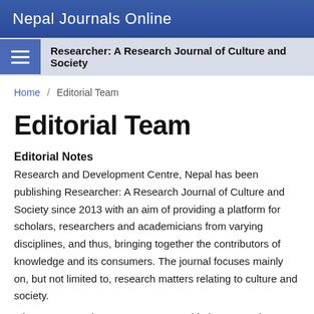Nepal Journals Online
Researcher: A Research Journal of Culture and Society
Home / Editorial Team
Editorial Team
Editorial Notes
Research and Development Centre, Nepal has been publishing Researcher: A Research Journal of Culture and Society since 2013 with an aim of providing a platform for scholars, researchers and academicians from varying disciplines, and thus, bringing together the contributors of knowledge and its consumers. The journal focuses mainly on, but not limited to, research matters relating to culture and society.
It is our utmost pleasure to come up with the current issue